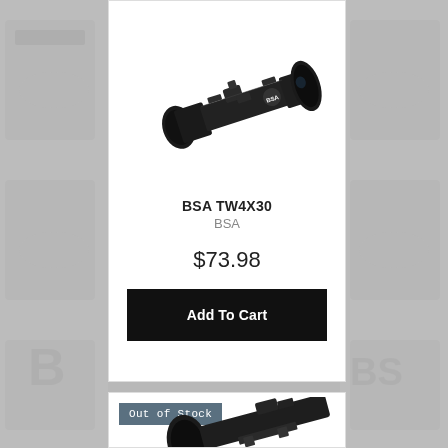[Figure (photo): BSA TW4X30 rifle scope, black, shown diagonally on white background]
BSA TW4X30
BSA
$73.98
Add To Cart
Out of Stock
[Figure (photo): Another rifle scope shown diagonally, partially visible at bottom of page]